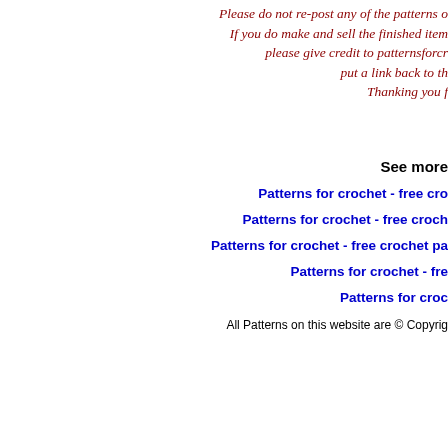Please do not re-post any of the patterns o
If you do make and sell the finished item
please give credit to patternsforcr
put a link back to th
Thanking you f
See more
Patterns for crochet - free cro
Patterns for crochet - free croch
Patterns for crochet - free crochet pa
Patterns for crochet - fre
Patterns for croc
All Patterns on this website are © Copyrig